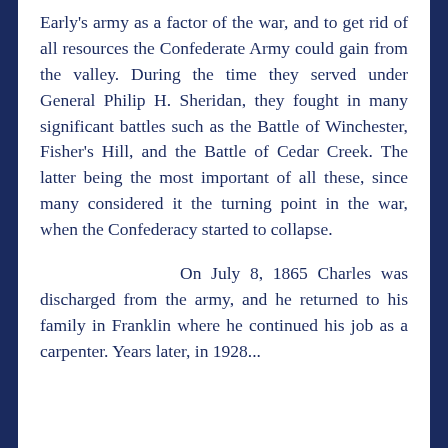Early's army as a factor of the war, and to get rid of all resources the Confederate Army could gain from the valley. During the time they served under General Philip H. Sheridan, they fought in many significant battles such as the Battle of Winchester, Fisher's Hill, and the Battle of Cedar Creek. The latter being the most important of all these, since many considered it the turning point in the war, when the Confederacy started to collapse.

On July 8, 1865 Charles was discharged from the army, and he returned to his family in Franklin where he continued his job as a carpenter. Years later, in 1928...